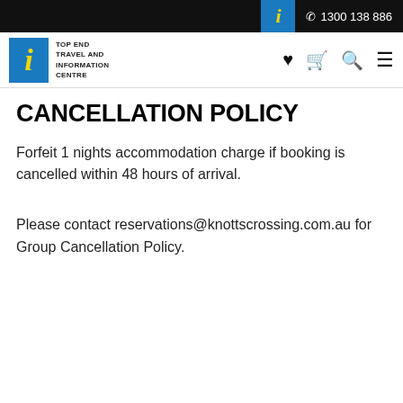1300 138 886
[Figure (logo): Top End Travel and Information Centre logo with blue box, yellow italic i, and text]
CANCELLATION POLICY
Forfeit 1 nights accommodation charge if booking is cancelled within 48 hours of arrival.
Please contact reservations@knottscrossing.com.au for Group Cancellation Policy.